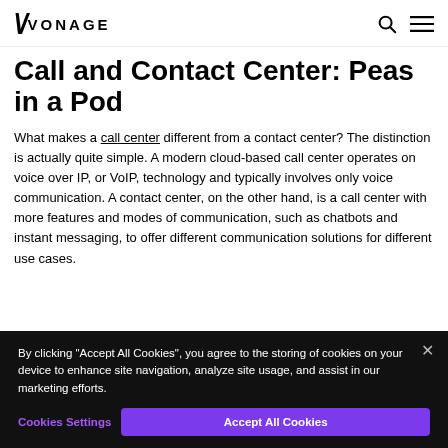VONAGE
Call and Contact Center: Peas in a Pod
What makes a call center different from a contact center? The distinction is actually quite simple. A modern cloud-based call center operates on voice over IP, or VoIP, technology and typically involves only voice communication. A contact center, on the other hand, is a call center with more features and modes of communication, such as chatbots and instant messaging, to offer different communication solutions for different use cases.
By clicking “Accept All Cookies”, you agree to the storing of cookies on your device to enhance site navigation, analyze site usage, and assist in our marketing efforts.
Cookies Settings
Accept All Cookies